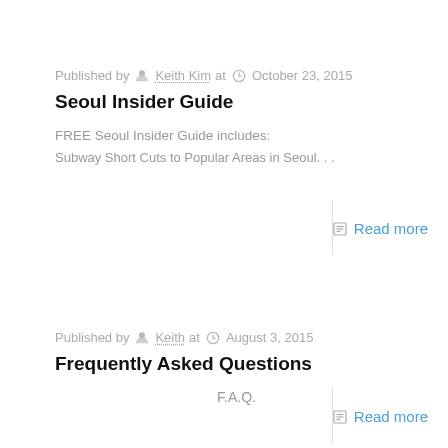Published by Keith Kim at October 23, 2015
Seoul Insider Guide
FREE Seoul Insider Guide includes:
Subway Short Cuts to Popular Areas in Seoul...
Read more
Published by Keith at August 3, 2015
Frequently Asked Questions
F.A.Q.
Read more